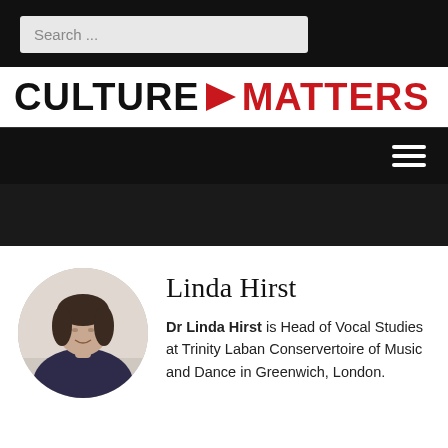Search ...
[Figure (logo): Culture Matters logo with red arrow/fist icon between the words]
[Figure (photo): Hamburger menu icon (three horizontal white lines) on black background]
Linda Hirst
Dr Linda Hirst is Head of Vocal Studies at Trinity Laban Conservertoire of Music and Dance in Greenwich, London.
[Figure (photo): Circular portrait photo of Linda Hirst, a woman with short dark hair, smiling, wearing a dark blue/purple top]